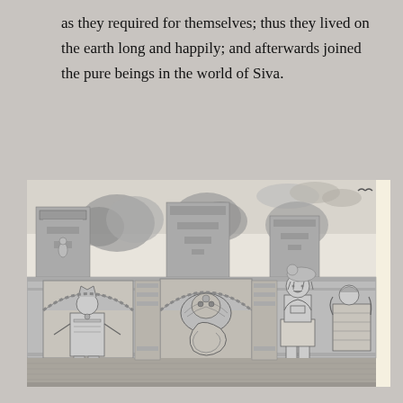as they required for themselves; thus they lived on the earth long and happily; and afterwards joined the pure beings in the world of Siva.
[Figure (illustration): A black and white line drawing depicting a Hindu temple scene with architectural details, shrine arches, a deity figure in a niche on the left, a large serpent (Naga) in the central arch, trees in the background, and two worshippers (a man with hands folded in prayer and a woman) standing on the right side.]